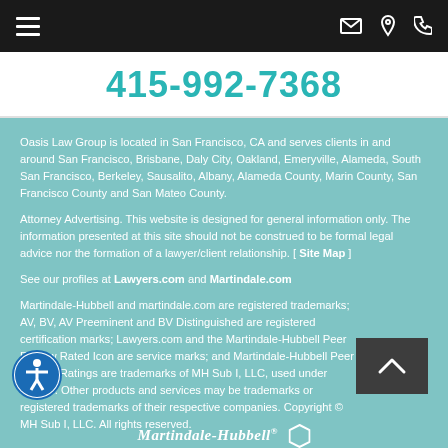Navigation bar with hamburger menu, email, location, and phone icons
415-992-7368
Oasis Law Group is located in San Francisco, CA and serves clients in and around San Francisco, Brisbane, Daly City, Oakland, Emeryville, Alameda, South San Francisco, Berkeley, Sausalito, Albany, Alameda County, Marin County, San Francisco County and San Mateo County.
Attorney Advertising. This website is designed for general information only. The information presented at this site should not be construed to be formal legal advice nor the formation of a lawyer/client relationship. [ Site Map ]
See our profiles at Lawyers.com and Martindale.com
Martindale-Hubbell and martindale.com are registered trademarks; AV, BV, AV Preeminent and BV Distinguished are registered certification marks; Lawyers.com and the Martindale-Hubbell Peer Review Rated Icon are service marks; and Martindale-Hubbell Peer Review Ratings are trademarks of MH Sub I, LLC, used under license. Other products and services may be trademarks or registered trademarks of their respective companies. Copyright © MH Sub I, LLC. All rights reserved.
Martindale-Hubbell®